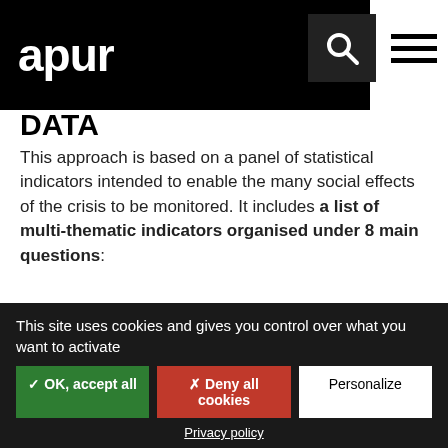apur
DATA
This approach is based on a panel of statistical indicators intended to enable the many social effects of the crisis to be monitored. It includes a list of multi-thematic indicators organised under 8 main questions:
What impact does the crisis have on access to, the right to and the use of, social aid and support measures?
This site uses cookies and gives you control over what you want to activate